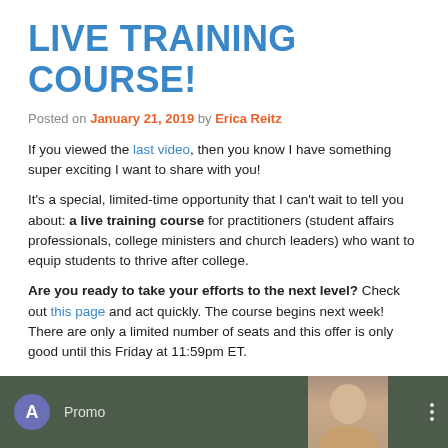LIVE TRAINING COURSE!
Posted on January 21, 2019 by Erica Reitz
If you viewed the last video, then you know I have something super exciting I want to share with you!
It's a special, limited-time opportunity that I can't wait to tell you about: a live training course for practitioners (student affairs professionals, college ministers and church leaders) who want to equip students to thrive after college.
Are you ready to take your efforts to the next level? Check out this page and act quickly. The course begins next week! There are only a limited number of seats and this offer is only good until this Friday at 11:59pm ET.
[Figure (screenshot): Video thumbnail showing a purple circle avatar with letter A and the label Promo on a dark background, with a woman's face partially visible, and three vertical dots menu icon]